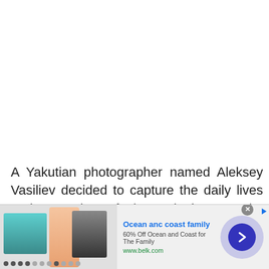A Yakutian photographer named Aleksey Vasiliev decided to capture the daily lives and struggles of the Yakutian people, showing what living in such a cold region looks like and what people do to pass the time. The photographer told
[Figure (screenshot): Advertisement banner for Ocean anc coast family - 60% Off Ocean and Coast for The Family at www.belk.com, showing swimwear/shorts images on the left, ad text in center, and a blue chevron button on the right with a close button.]